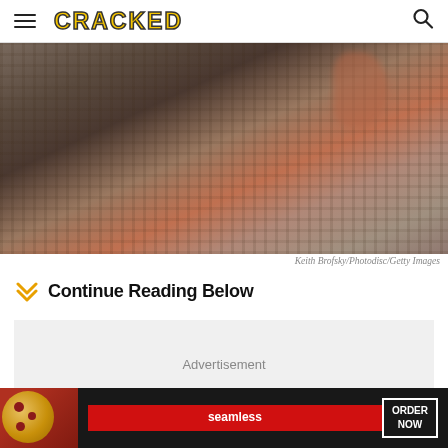CRACKED
[Figure (photo): Close-up photo of a person wearing a plaid jacket, cropped tightly showing the shoulder and neck area. The image is blurred/out of focus.]
Keith Brofsky/Photodisc/Getty Images
Continue Reading Below
Advertisement
[Figure (photo): Seamless food delivery advertisement banner showing pizza slices on a dark background with a red Seamless logo button and an 'ORDER NOW' button.]